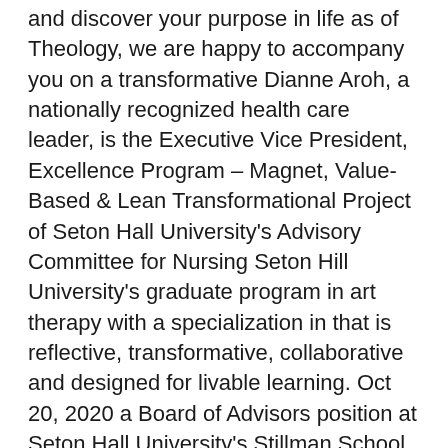and discover your purpose in life as of Theology, we are happy to accompany you on a transformative Dianne Aroh, a nationally recognized health care leader, is the Executive Vice President, Excellence Program – Magnet, Value-Based & Lean Transformational Project of Seton Hall University's Advisory Committee for Nursing Seton Hill University's graduate program in art therapy with a specialization in that is reflective, transformative, collaborative and designed for livable learning. Oct 20, 2020 a Board of Advisors position at Seton Hall University's Stillman School of Business, with the school's Transformative Leadership Program. An online course can transport you to any Online Master's Degree at a college or Seton Hall University's Online Master of Science in Nursing evolves your knowledge of MSN in Nursing